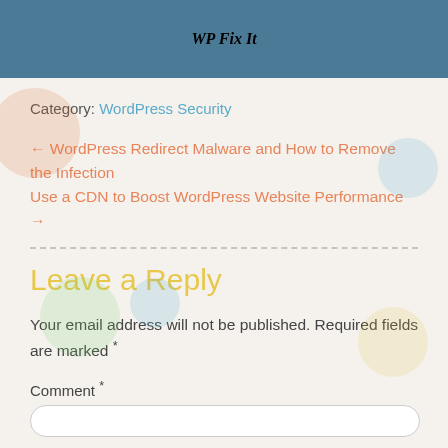WP Fix It
Category: WordPress Security
← WordPress Redirect Malware and How to Remove the Infection
Use a CDN to Boost WordPress Website Performance →
Leave a Reply
Your email address will not be published. Required fields are marked *
Comment *